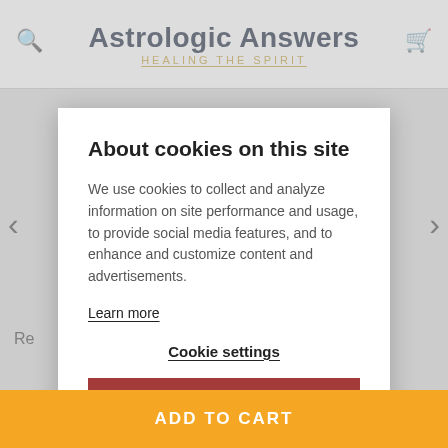Astrologic Answers — HEALING THE SPIRIT
About cookies on this site
We use cookies to collect and analyze information on site performance and usage, to provide social media features, and to enhance and customize content and advertisements.
Learn more
Cookie settings
ALLOW ALL COOKIES
ADD TO CART